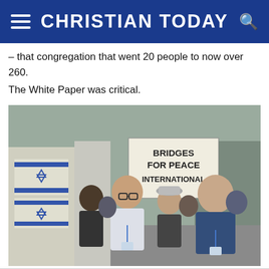CHRISTIAN TODAY
– that congregation that went 20 people to now over 260. The White Paper was critical.
[Figure (photo): Group photo of people including Mark Tronson and Peter Scotland standing at the gates of Auschwitz in 2005, holding a sign reading 'BRIDGES FOR PEACE INTERNATIONAL', with Israeli flags visible in the background.]
Photo  -  Mark Tronson and Peter Scotland 2005 – at the gates of Auschwitz